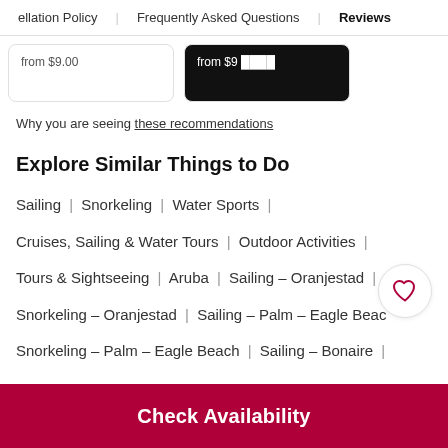ellation Policy | Frequently Asked Questions | Reviews
from $9.00  |  from $9 [card prices]
Why you are seeing these recommendations
Explore Similar Things to Do
Sailing | Snorkeling | Water Sports |
Cruises, Sailing & Water Tours | Outdoor Activities |
Tours & Sightseeing | Aruba | Sailing – Oranjestad |
Snorkeling – Oranjestad | Sailing – Palm – Eagle Beach
Snorkeling – Palm – Eagle Beach | Sailing – Bonaire |
Check Availability